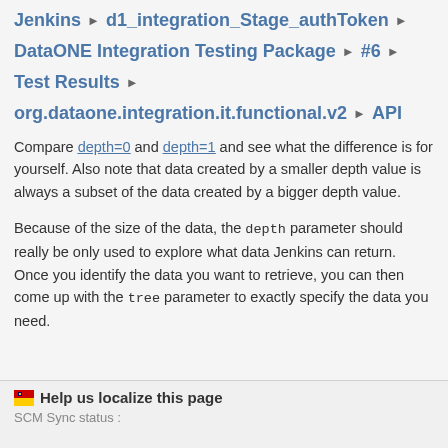Jenkins › d1_integration_Stage_authToken ›
DataONE Integration Testing Package › #6 ›
Test Results ›
org.dataone.integration.it.functional.v2 › API
Compare depth=0 and depth=1 and see what the difference is for yourself. Also note that data created by a smaller depth value is always a subset of the data created by a bigger depth value.
Because of the size of the data, the depth parameter should really be only used to explore what data Jenkins can return. Once you identify the data you want to retrieve, you can then come up with the tree parameter to exactly specify the data you need.
Help us localize this page
SCM Sync status :